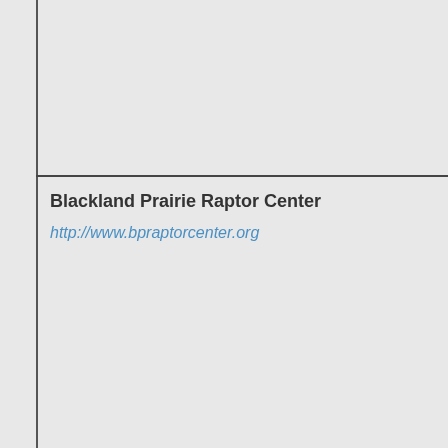Blackland Prairie Raptor Center
http://www.bpraptorcenter.org